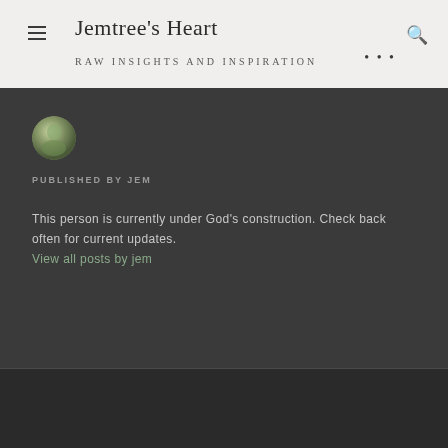Jemtree's Heart
Raw Insights And Inspiration
[Figure (photo): Circular avatar photo of a person outdoors with green/nature tones]
PUBLISHED BY JEM
This person is currently under God's construction. Check back often for current updates.
View all posts by jem